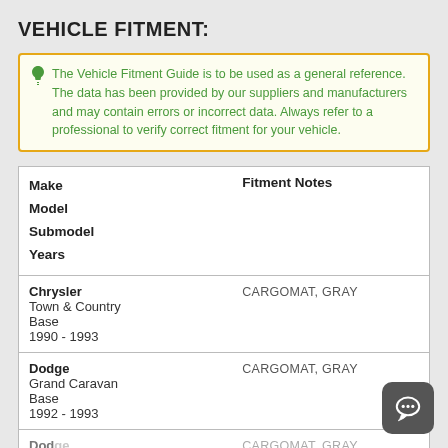VEHICLE FITMENT:
The Vehicle Fitment Guide is to be used as a general reference. The data has been provided by our suppliers and manufacturers and may contain errors or incorrect data. Always refer to a professional to verify correct fitment for your vehicle.
| Make
Model
Submodel
Years | Fitment Notes |
| --- | --- |
| Chrysler
Town & Country
Base
1990 - 1993 | CARGOMAT, GRAY |
| Dodge
Grand Caravan
Base
1992 - 1993 | CARGOMAT, GRAY |
| Dodge... | CARGOMAT, GRAY |